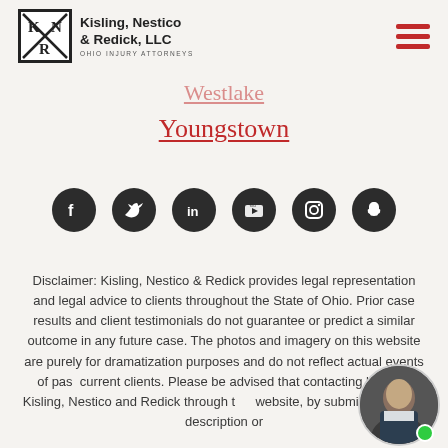Kisling, Nestico & Redick, LLC — Ohio Injury Attorneys
Westlake
Youngstown
[Figure (infographic): Social media icons row: Facebook, Twitter, LinkedIn, YouTube, Instagram, Snapchat — circular dark icons]
Disclaimer: Kisling, Nestico & Redick provides legal representation and legal advice to clients throughout the State of Ohio. Prior case results and client testimonials do not guarantee or predict a similar outcome in any future case. The photos and imagery on this website are purely for dramatization purposes and do not reflect actual events of past or current clients. Please be advised that contacting law firm Kisling, Nestico and Redick through this website, by submitting a case description or
[Figure (photo): Circular avatar photo of a man in a suit, with a green online status dot in the bottom right corner]